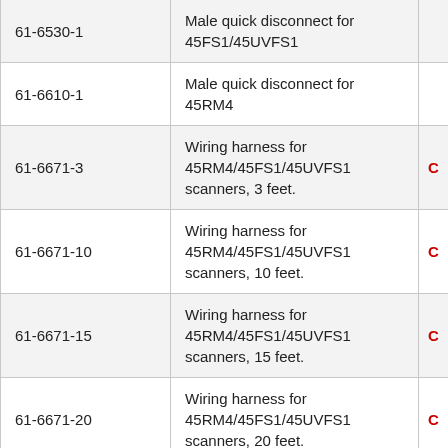| Part Number | Description | Flag |
| --- | --- | --- |
| 61-6530-1 | Male quick disconnect for 45FS1/45UVFS1 |  |
| 61-6610-1 | Male quick disconnect for 45RM4 |  |
| 61-6671-3 | Wiring harness for 45RM4/45FS1/45UVFS1 scanners, 3 feet. | C |
| 61-6671-10 | Wiring harness for 45RM4/45FS1/45UVFS1 scanners, 10 feet. | C |
| 61-6671-15 | Wiring harness for 45RM4/45FS1/45UVFS1 scanners, 15 feet. | C |
| 61-6671-20 | Wiring harness for 45RM4/45FS1/45UVFS1 scanners, 20 feet. | C |
| 61-6671-30 | Wiring harness for 45RM4/45FS1/45UVFS1 scanners, 30 feet. | C |